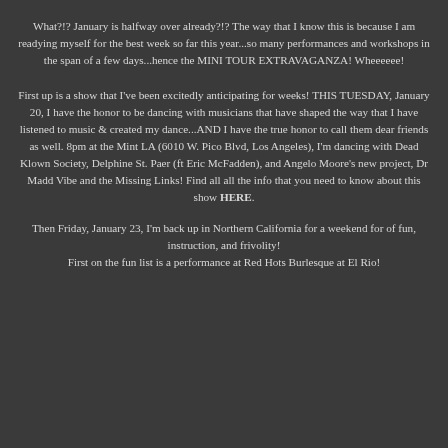What?!?  January is halfway over already?!?  The way that I know this is because I am readying myself for the best week so far this year...so many performances and workshops in the span of a few days...hence the MINI TOUR EXTRAVAGANZA!  Wheeeeee!
First up is a show that I've been excitedly anticipating for weeks!  THIS TUESDAY, January 20, I have the honor to be dancing with musicians that have shaped the way that I have listened to music & created my dance...AND I have the true honor to call them dear friends as well. 8pm at the Mint LA (6010 W. Pico Blvd, Los Angeles), I'm dancing with Dead Klown Society, Delphine St. Paer (ft Eric McFadden), and Angelo Moore's new project, Dr Madd Vibe and the Missing Links!  Find all all the info that you need to know about this show HERE.
Then Friday, January 23, I'm back up in Northern California for a weekend for of fun, instruction, and frivolity! First on the fun list is a performance at Red Hots Burlesque at El Rio!